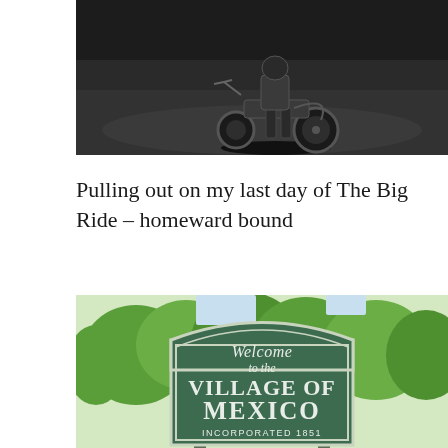[Figure (photo): Motorcycle on dark asphalt pavement, viewed from behind, last day of The Big Ride]
Pulling out on my last day of The Big Ride – homeward bound
[Figure (photo): Welcome to the Village of Mexico, Incorporated 1851 – green town welcome sign with white lettering, surrounded by green trees]